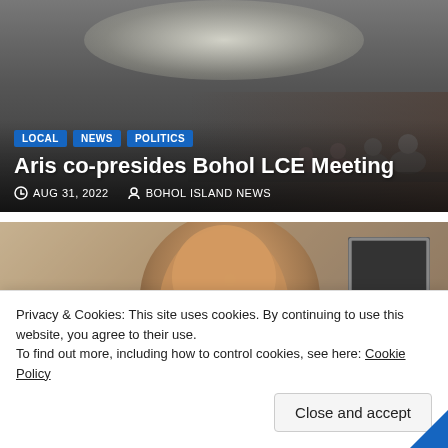[Figure (photo): A banquet hall with round ceiling light feature and people seated at tables in the background, serving as the background for an article card.]
LOCAL NEWS POLITICS
Aris co-presides Bohol LCE Meeting
AUG 31, 2022  BOHOL ISLAND NEWS
[Figure (photo): Close-up photo of a bald older man smiling, with a dark framed object visible in the background.]
LOCAL NEWS
Privacy & Cookies: This site uses cookies. By continuing to use this website, you agree to their use.
To find out more, including how to control cookies, see here: Cookie Policy